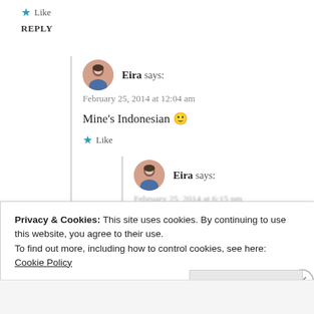★ Like
REPLY
Eira says:
February 25, 2014 at 12:04 am
Mine's Indonesian 🙂
★ Like
Eira says:
February 25, 2014 at 6:15 pm
Privacy & Cookies: This site uses cookies. By continuing to use this website, you agree to their use.
To find out more, including how to control cookies, see here: Cookie Policy
Close and accept